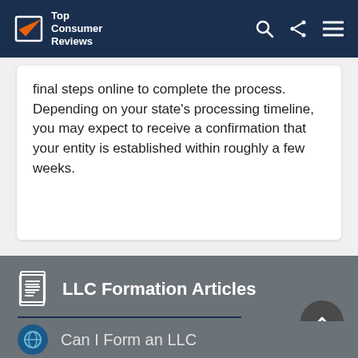Top Consumer Reviews
final steps online to complete the process. Depending on your state's processing timeline, you may expect to receive a confirmation that your entity is established within roughly a few weeks.
LLC Formation Articles
Can I Form an LLC